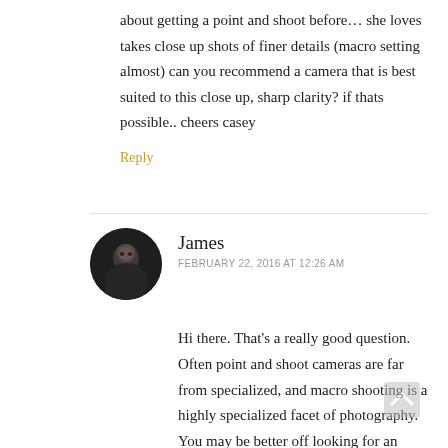about getting a point and shoot before… she loves takes close up shots of finer details (macro setting almost) can you recommend a camera that is best suited to this close up, sharp clarity? if thats possible.. cheers casey
Reply
[Figure (photo): Circular avatar photo of commenter James, dark image of a man's face]
James
FEBRUARY 22, 2016 AT 12:26 AM
Hi there. That's a really good question. Often point and shoot cameras are far from specialized, and macro shooting is a highly specialized facet of photography. You may be better off looking for an SLR camera that's in your price point (some of these can be almost as small as a point and shoot- Olympus OM cameras for instance) and buying a really good